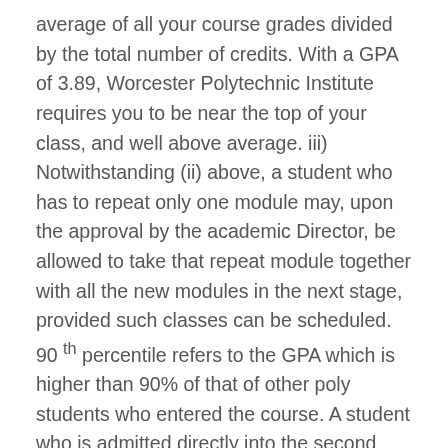average of all your course grades divided by the total number of credits. With a GPA of 3.89, Worcester Polytechnic Institute requires you to be near the top of your class, and well above average. iii) Notwithstanding (ii) above, a student who has to repeat only one module may, upon the approval by the academic Director, be allowed to take that repeat module together with all the new modules in the next stage, provided such classes can be scheduled. 90 th percentile refers to the GPA which is higher than 90% of that of other poly students who entered the course. A student who is admitted directly into the second year of a three-year course will be deemed to be doing a two-year course of study. Higher Education GPA is the grade point average of all college level work, both Cal Poly and any transfer work. If thatâ      s the goal, to have